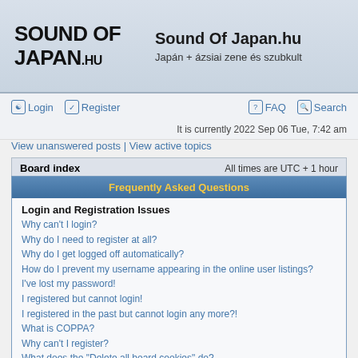[Figure (logo): Sound Of Japan.hu logo text in bold stylized font]
Sound Of Japan.hu
Japán + ázsiai zene és szubkult
Login | Register | FAQ | Search
It is currently 2022 Sep 06 Tue, 7:42 am
View unanswered posts | View active topics
Board index    All times are UTC + 1 hour
Frequently Asked Questions
Login and Registration Issues
Why can't I login?
Why do I need to register at all?
Why do I get logged off automatically?
How do I prevent my username appearing in the online user listings?
I've lost my password!
I registered but cannot login!
I registered in the past but cannot login any more?!
What is COPPA?
Why can't I register?
What does the "Delete all board cookies" do?
User Preferences and settings
How do I change my settings?